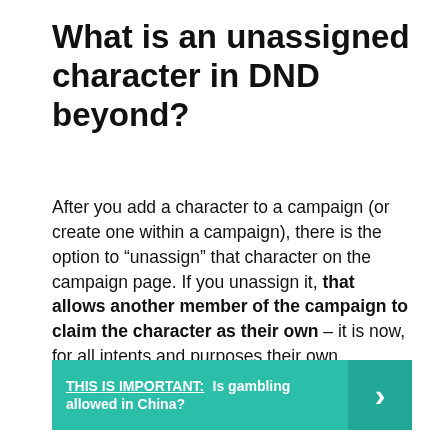What is an unassigned character in DND beyond?
After you add a character to a campaign (or create one within a campaign), there is the option to “unassign” that character on the campaign page. If you unassign it, that allows another member of the campaign to claim the character as their own – it is now, for all intents and purposes their own character.
THIS IS IMPORTANT:  Is gambling allowed in China?
How do you duplicate a